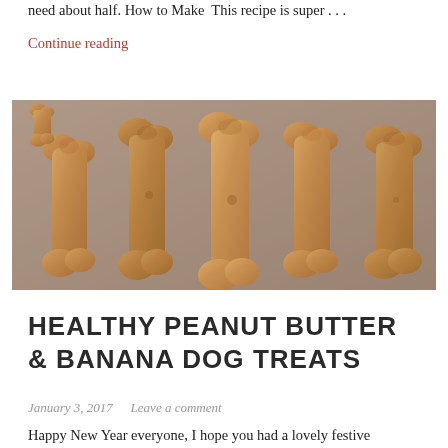need about half. How to Make  This recipe is super . . .
Continue reading
[Figure (photo): Photo of multiple dog bone shaped biscuits/treats arranged on parchment paper, golden brown in color]
HEALTHY PEANUT BUTTER & BANANA DOG TREATS
January 3, 2017    Leave a comment
Happy New Year everyone, I hope you had a lovely festive